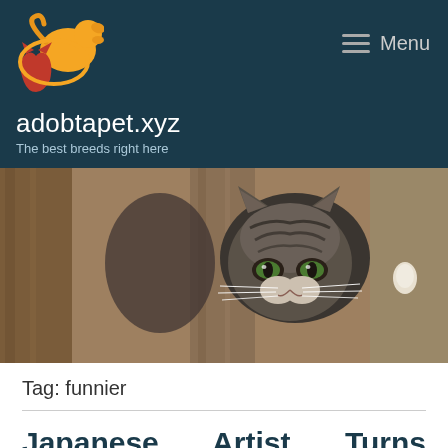[Figure (logo): adobtapet.xyz logo with orange dog and red cat silhouette]
adobtapet.xyz
The best breeds right here
[Figure (photo): A tabby cat with green eyes peering between tree branches/trunks in an outdoor setting]
Tag: funnier
Japanese Artist Turns Hilarious Animal Moments Into Sculptures